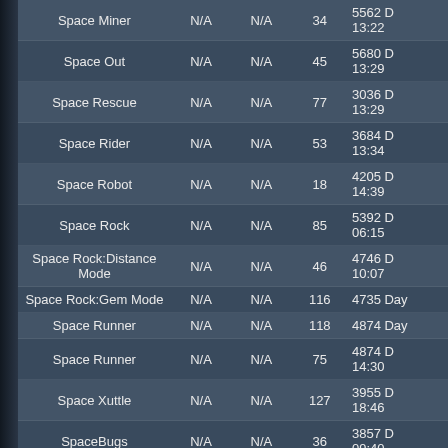| Name | N/A | N/A | Count | Info |
| --- | --- | --- | --- | --- |
| Space Miner | N/A | N/A | 34 | 5562 D 13:22 |
| Space Out | N/A | N/A | 45 | 5680 D 13:29 |
| Space Rescue | N/A | N/A | 77 | 3036 D 13:29 |
| Space Rider | N/A | N/A | 53 | 3684 D 13:34 |
| Space Robot | N/A | N/A | 18 | 4205 D 14:39 |
| Space Rock | N/A | N/A | 85 | 5392 D 06:15 |
| Space Rock:Distance Mode | N/A | N/A | 46 | 4746 D 10:07 |
| Space Rock:Gem Mode | N/A | N/A | 116 | 4735 Day |
| Space Runner | N/A | N/A | 118 | 4874 Day |
| Space Runner | N/A | N/A | 75 | 4874 D 14:30 |
| Space Xuttle | N/A | N/A | 127 | 3955 D 18:46 |
| SpaceBugs | N/A | N/A | 36 | 3857 D 09:40 |
| Spacegame | N/A | N/A | 70 | 5083 D 16:21 |
| SpaceMan | N/A | N/A | 54 | 3683 D 10:09 |
| Spaceman Bob`s Great Escape | N/A | N/A | 99 | 4198 D |